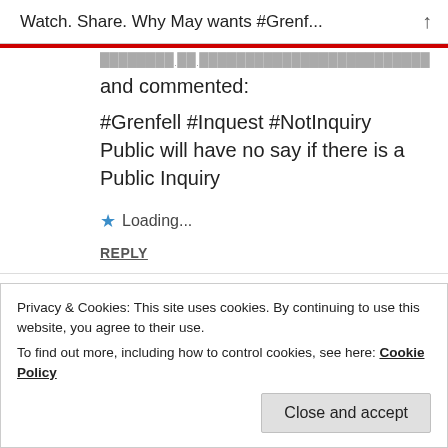Watch. Share. Why May wants #Grenf...
and commented:
#Grenfell #Inquest #NotInquiry Public will have no say if there is a Public Inquiry
Loading...
REPLY
mili68  16/06/2017 AT 4:29 PM
Reblogged this on disabledsingleparent.
Privacy & Cookies: This site uses cookies. By continuing to use this website, you agree to their use.
To find out more, including how to control cookies, see here: Cookie Policy
Close and accept